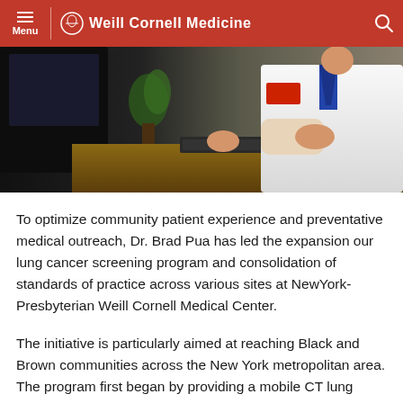Weill Cornell Medicine
[Figure (photo): Doctor in white lab coat sitting at a desk with keyboard, gesturing, with plants and dark background]
To optimize community patient experience and preventative medical outreach, Dr. Brad Pua has led the expansion our lung cancer screening program and consolidation of standards of practice across various sites at NewYork-Presbyterian Weill Cornell Medical Center.
The initiative is particularly aimed at reaching Black and Brown communities across the New York metropolitan area. The program first began by providing a mobile CT lung screening program to the Lower Manhattan community. Now, the initiative aims to expand across